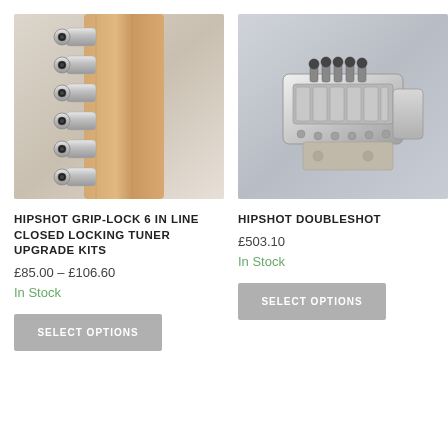[Figure (photo): Close-up photo of a guitar headstock with Hipshot Grip-Lock 6-in-line chrome locking tuners on a maple neck, light grey background]
HIPSHOT GRIP-LOCK 6 IN LINE CLOSED LOCKING TUNER UPGRADE KITS
£85.00 – £106.60
In Stock
SELECT OPTIONS
[Figure (photo): 3D render / photo of the Hipshot Doubleshot guitar tremolo bridge in chrome/silver, shown from above at an angle on a light grey background]
HIPSHOT DOUBLESHOT
£503.10
In Stock
SELECT OPTIONS